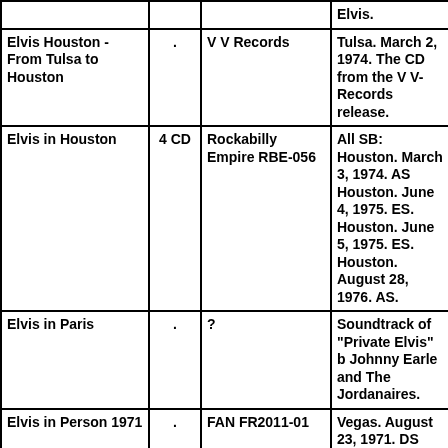| Title | Discs | Label | Notes |
| --- | --- | --- | --- |
| Elvis Houston - From Tulsa to Houston | . | V V Records | Tulsa. March 2, 1974. The CD from the V V-Records release. |
| Elvis in Houston | 4 CD | Rockabilly Empire RBE-056 | All SB: Houston. March 3, 1974. AS Houston. June 4, 1975. ES. Houston. June 5, 1975. ES. Houston. August 28, 1976. AS. |
| Elvis in Paris | . | ? | Soundtrack of "Private Elvis" b Johnny Earle and The Jordanaires. |
| Elvis in Person 1971 | . | FAN FR2011-01 | Vegas. August 23, 1971. DS |
| Elvis in Person | . | CD-0314-2000 | Vegas. February 21, 1971. M/S [!] |
| Elvis in Person |  | Paradise Records | (Mainly) Portland |